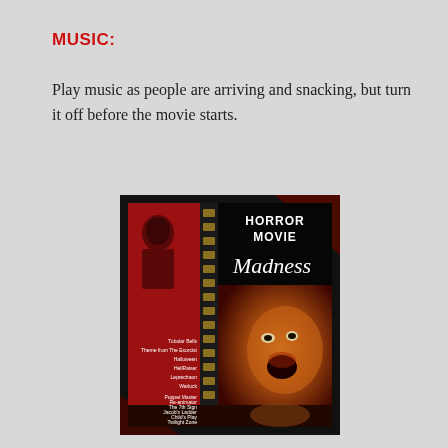MUSIC:
Play music as people are arriving and snacking, but turn it off before the movie starts.
[Figure (photo): Album cover for 'Horror Movie Madness' showing a screaming face, film strip, red background with track listing including Tubular Bells, Theme from The Exorcist, Halloween, HellRaiser, Leprechaun, Warlock, Puppet Master, Re-animator, The 7th Sign, Jacob's Ladder, Child's Play, Twilight Zone]